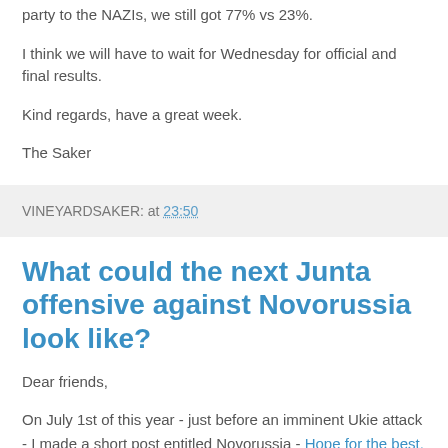party to the NAZIs, we still got 77% vs 23%.
I think we will have to wait for Wednesday for official and final results.
Kind regards, have a great week.
The Saker
VINEYARDSAKER: at 23:50
What could the next Junta offensive against Novorussia look like?
Dear friends,
On July 1st of this year - just before an imminent Ukie attack - I made a short post entitled Novorussia - Hope for the best, prepare for the worst, and settle for anything in the middle in which I was trying to prepare my readers for the possible consequences of a massive Ukrainian assault.